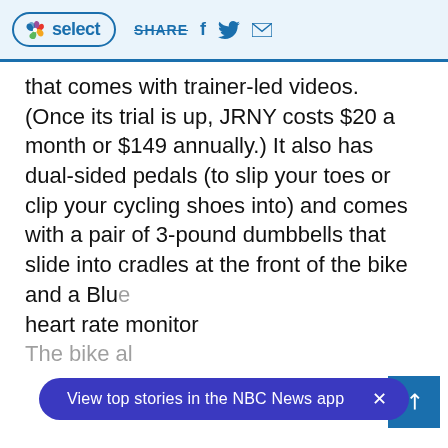NBC Select | SHARE
that comes with trainer-led videos. (Once its trial is up, JRNY costs $20 a month or $149 annually.) It also has dual-sided pedals (to slip your toes or clip your cycling shoes into) and comes with a pair of 3-pound dumbbells that slide into cradles at the front of the bike and a Blu heart rate monitor The bike al
View top stories in the NBC News app